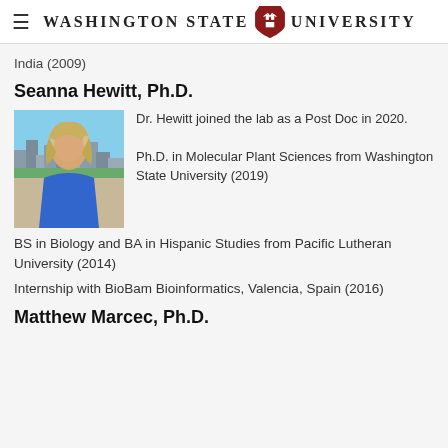Washington State University
India (2009)
Seanna Hewitt, Ph.D.
[Figure (photo): Photo of Seanna Hewitt, a woman with blonde hair wearing a blue dress, standing outdoors with a city skyline in the background.]
Dr. Hewitt joined the lab as a Post Doc in 2020.

Ph.D. in Molecular Plant Sciences from Washington State University (2019)
BS in Biology and BA in Hispanic Studies from Pacific Lutheran University (2014)
Internship with BioBam Bioinformatics, Valencia, Spain (2016)
Matthew Marcec, Ph.D.